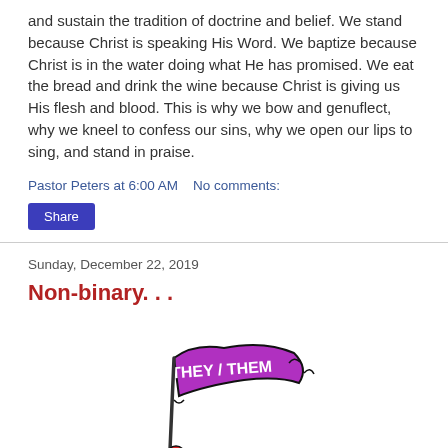and sustain the tradition of doctrine and belief. We stand because Christ is speaking His Word. We baptize because Christ is in the water doing what He has promised. We eat the bread and drink the wine because Christ is giving us His flesh and blood. This is why we bow and genuflect, why we kneel to confess our sins, why we open our lips to sing, and stand in praise.
Pastor Peters at 6:00 AM   No comments:
Share
Sunday, December 22, 2019
Non-binary. . .
[Figure (illustration): Cartoon illustration of colorful figures holding up a purple banner that reads THEY / THEM]